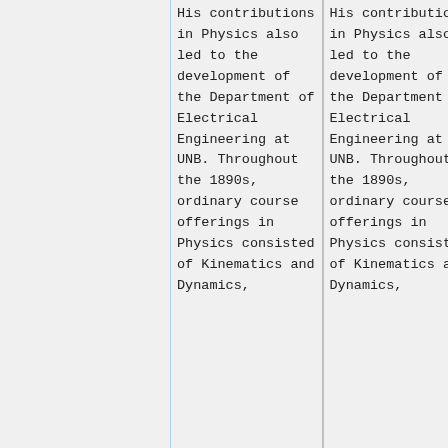His contributions in Physics also led to the development of the Department of Electrical Engineering at UNB. Throughout the 1890s, ordinary course offerings in Physics consisted of Kinematics and Dynamics,
His contributions in Physics also led to the development of the Department of Electrical Engineering at UNB. Throughout the 1890s, ordinary course offerings in Physics consisted of Kinematics and Dynamics,